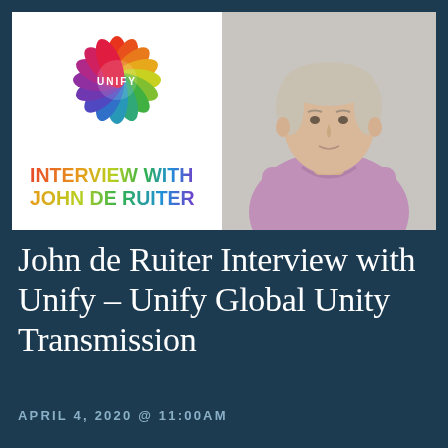[Figure (illustration): Composite image: left side shows Unify logo (colorful flower made of petals in rainbow colors) with text 'INTERVIEW WITH JOHN DE RUITER' in rainbow gradient bold font on white background; right side shows a headshot photo of a middle-aged man with short grey-blonde hair wearing a lavender/pink shirt against a light background.]
John de Ruiter Interview with Unify – Unify Global Unity Transmission
APRIL 4, 2020 @ 11:00AM